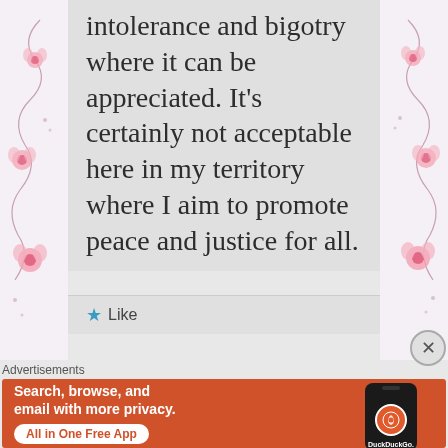intolerance and bigotry where it can be appreciated. It’s certainly not acceptable here in my territory where I aim to promote peace and justice for all.
★ Like
Advertisements
[Figure (screenshot): DuckDuckGo advertisement banner with orange background. Text reads: Search, browse, and email with more privacy. All in One Free App. Shows a phone mockup with DuckDuckGo logo.]